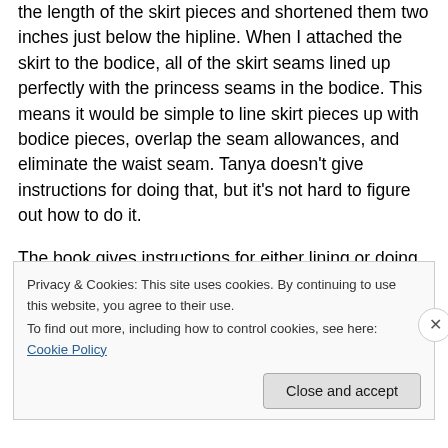the length of the skirt pieces and shortened them two inches just below the hipline. When I attached the skirt to the bodice, all of the skirt seams lined up perfectly with the princess seams in the bodice. This means it would be simple to line skirt pieces up with bodice pieces, overlap the seam allowances, and eliminate the waist seam. Tanya doesn't give instructions for doing that, but it's not hard to figure out how to do it.
The book gives instructions for either lining or doing facings for the bodice, but since I was using a knit, I
Privacy & Cookies: This site uses cookies. By continuing to use this website, you agree to their use.
To find out more, including how to control cookies, see here: Cookie Policy